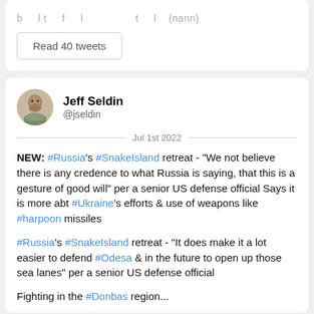Read 40 tweets
Jeff Seldin @jseldin
Jul 1st 2022
NEW: #Russia's #SnakeIsland retreat - "We not believe there is any credence to what Russia is saying, that this is a gesture of good will" per a senior US defense official Says it is more abt #Ukraine's efforts & use of weapons like #harpoon missiles
#Russia's #SnakeIsland retreat - "It does make it a lot easier to defend #Odesa & in the future to open up those sea lanes" per a senior US defense official
Fighting in the #Donbas region...